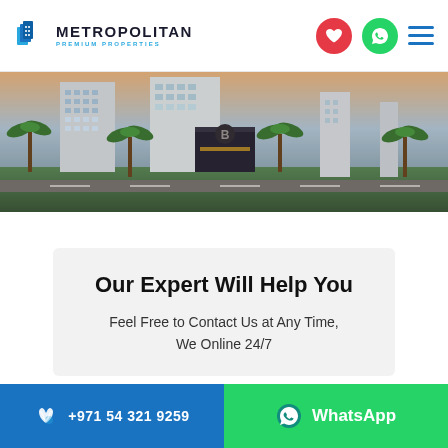[Figure (logo): Metropolitan Premium Properties logo with blue building icon and text]
[Figure (photo): Hero image of modern residential buildings with palm trees at dusk]
Our Expert Will Help You
Feel Free to Contact Us at Any Time, We Online 24/7
+971 54 321 9259   WhatsApp